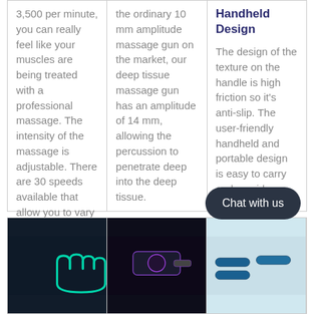3,500 per minute, you can really feel like your muscles are being treated with a professional massage. The intensity of the massage is adjustable. There are 30 speeds available that allow you to vary pressure and speed to suit your conditions.
the ordinary 10 mm amplitude massage gun on the market, our deep tissue massage gun has an amplitude of 14 mm, allowing the percussion to penetrate deep into the deep tissue.
Handheld Design
The design of the texture on the handle is high friction so it's anti-slip. The user-friendly handheld and portable design is easy to carry and provides a better grip.
[Figure (photo): Dark background image with teal/green upward arrow or hand icon]
[Figure (photo): Dark neon-lit image of a massage gun device]
[Figure (photo): Light blue background image showing massage gun attachments]